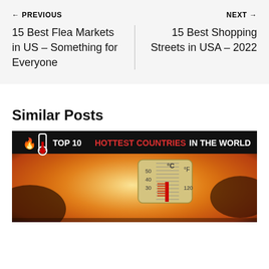← PREVIOUS
NEXT →
15 Best Flea Markets in US – Something for Everyone
15 Best Shopping Streets in USA – 2022
Similar Posts
[Figure (photo): Thumbnail image for 'Top 10 Hottest Countries in the World' article, showing a thermometer against a fiery background with text overlay reading 'TOP 10 HOTTEST COUNTRIES IN THE WORLD']